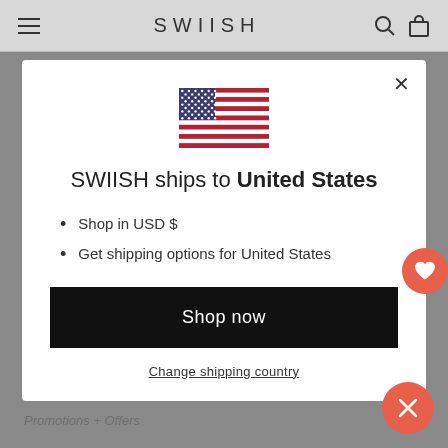SWIISH
[Figure (illustration): US flag emoji/icon centered in modal]
SWIISH ships to United States
Shop in USD $
Get shipping options for United States
Shop now
Change shipping country